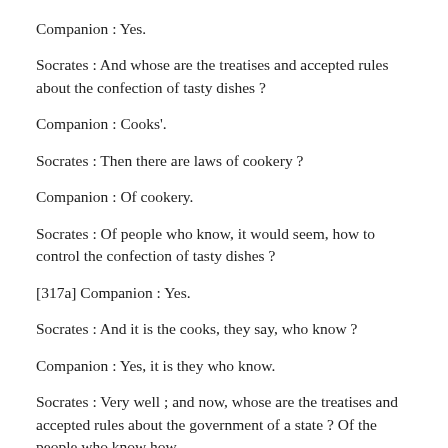Companion : Yes.
Socrates : And whose are the treatises and accepted rules about the confection of tasty dishes ?
Companion : Cooks'.
Socrates : Then there are laws of cookery ?
Companion : Of cookery.
Socrates : Of people who know, it would seem, how to control the confection of tasty dishes ?
[317a] Companion : Yes.
Socrates : And it is the cooks, they say, who know ?
Companion : Yes, it is they who know.
Socrates : Very well ; and now, whose are the treatises and accepted rules about the government of a state ? Of the people who know how